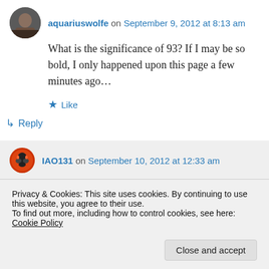aquariuswolfe on September 9, 2012 at 8:13 am
What is the significance of 93? If I may be so bold, I only happened upon this page a few minutes ago…
★ Like
↳ Reply
IAO131 on September 10, 2012 at 12:33 am
Privacy & Cookies: This site uses cookies. By continuing to use this website, you agree to their use.
To find out more, including how to control cookies, see here: Cookie Policy
Close and accept